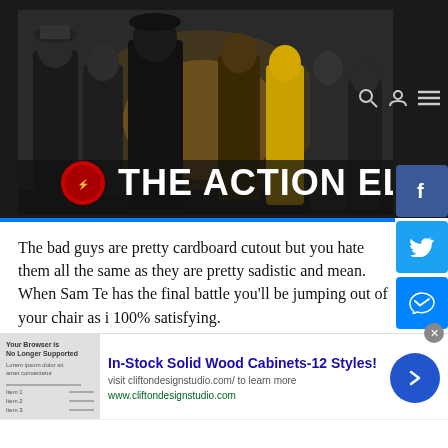[Figure (screenshot): The Action Elite website banner with movie characters in black and white, logo with text THE ACTION ELITE]
The bad guys are pretty cardboard cutout but you hate them all the same as they are pretty sadistic and mean. When Sam Te has the final battle you'll be jumping out of your chair as i 100% satisfying.
The martial arts on display are pretty incredible even by standards and although not quite as intense as say
[Figure (screenshot): infolinks advertisement banner at bottom - In-Stock Solid Wood Cabinets-12 Styles! visit cliftondesignstudio.com/ to learn more www.cliftondesignstudio.com]